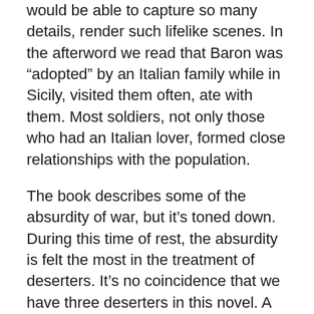would be able to capture so many details, render such lifelike scenes. In the afterword we read that Baron was “adopted” by an Italian family while in Sicily, visited them often, ate with them. Most soldiers, not only those who had an Italian lover, formed close relationships with the population.
The book describes some of the absurdity of war, but it’s toned down. During this time of rest, the absurdity is felt the most in the treatment of deserters. It’s no coincidence that we have three deserters in this novel. A British, soldier, an Italian and a German one. Their treatment is very different.
I liked the way this book was written a great deal. It’s written in such a precise but effortless style, you barely notice you are reading, it felt much more like watching a